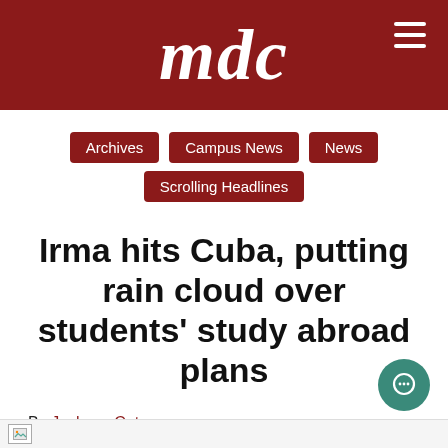mdc
Archives
Campus News
News
Scrolling Headlines
Irma hits Cuba, putting rain cloud over students' study abroad plans
By Jackson Cote
September 21, 2017